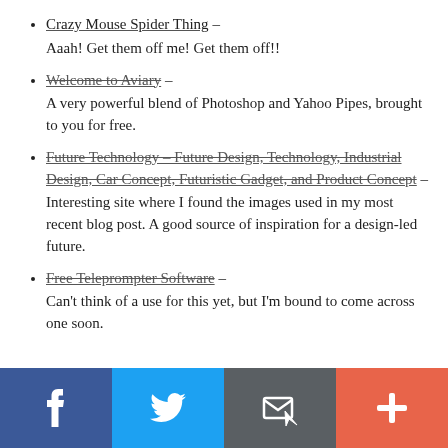Crazy Mouse Spider Thing – Aaah! Get them off me! Get them off!!
Welcome to Aviary – A very powerful blend of Photoshop and Yahoo Pipes, brought to you for free.
Future Technology – Future Design, Technology, Industrial Design, Car Concept, Futuristic Gadget, and Product Concept – Interesting site where I found the images used in my most recent blog post. A good source of inspiration for a design-led future.
Free Teleprompter Software – Can't think of a use for this yet, but I'm bound to come across one soon.
[Figure (infographic): Social media sharing bar with four buttons: Facebook (dark blue, 'f' icon), Twitter (light blue, bird icon), Email (dark grey, envelope/cursor icon), Add/More (orange-red, plus icon)]